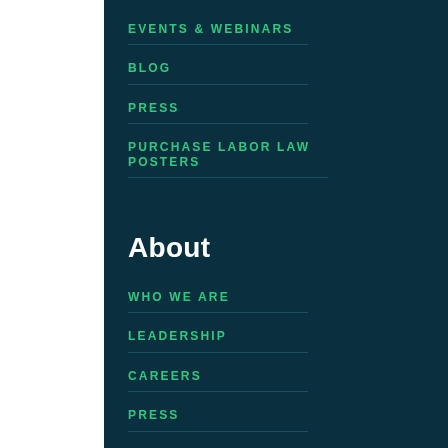EVENTS & WEBINARS
BLOG
PRESS
PURCHASE LABOR LAW POSTERS
About
WHO WE ARE
LEADERSHIP
CAREERS
PRESS
PARTNERSHIPS &